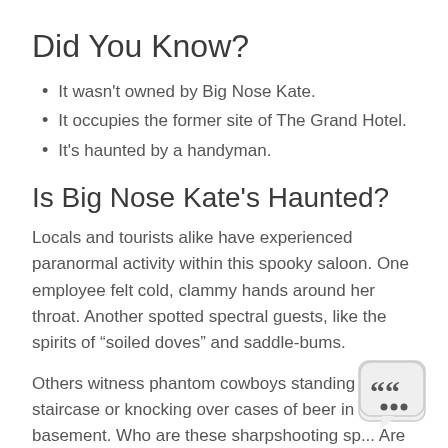Did You Know?
It wasn't owned by Big Nose Kate.
It occupies the former site of The Grand Hotel.
It's haunted by a handyman.
Is Big Nose Kate's Haunted?
Locals and tourists alike have experienced paranormal activity within this spooky saloon. One employee felt cold, clammy hands around her throat. Another spotted spectral guests, like the spirits of “soiled doves” and saddle-bums.
Others witness phantom cowboys standing in the staircase or knocking over cases of beer in the basement. Who are these sharpshooting sp... Are these the Earps or Doc Holliday, coming back f...